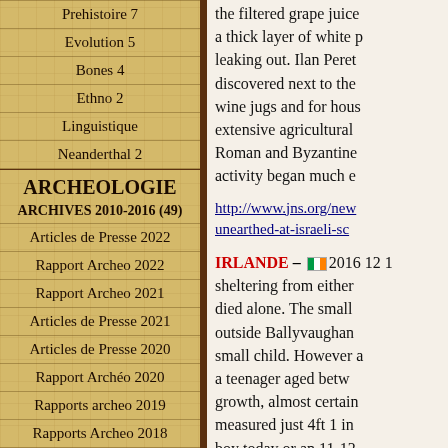Prehistoire 7
Evolution 5
Bones 4
Ethno 2
Linguistique
Neanderthal 2
ARCHEOLOGIE
ARCHIVES 2010-2016 (49)
Articles de Presse 2022
Rapport Archeo 2022
Rapport Archeo 2021
Articles de Presse 2021
Articles de Presse 2020
Rapport Archéo 2020
Rapports archeo 2019
Rapports Archeo 2018
the filtered grape juice a thick layer of white p leaking out. Ilan Peret discovered next to the wine jugs and for hous extensive agricultural Roman and Byzantine activity began much e
http://www.jns.org/new unearthed-at-israeli-sc
IRLANDE – 2016 12 1 sheltering from either died alone. The small outside Ballyvaughan small child. However a a teenager aged betw growth, almost certain measured just 4ft 1 in boy today or an 11-12 dating revealed he ha